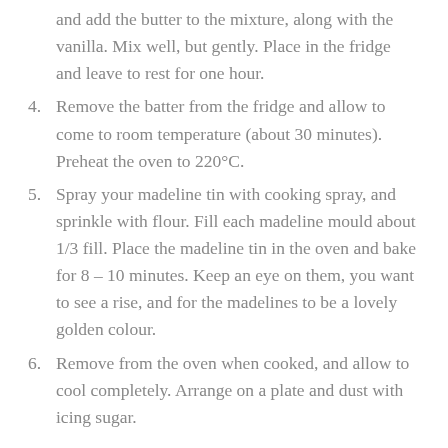and add the butter to the mixture, along with the vanilla. Mix well, but gently. Place in the fridge and leave to rest for one hour.
4. Remove the batter from the fridge and allow to come to room temperature (about 30 minutes). Preheat the oven to 220°C.
5. Spray your madeline tin with cooking spray, and sprinkle with flour. Fill each madeline mould about 1/3 fill. Place the madeline tin in the oven and bake for 8 – 10 minutes. Keep an eye on them, you want to see a rise, and for the madelines to be a lovely golden colour.
6. Remove from the oven when cooked, and allow to cool completely. Arrange on a plate and dust with icing sugar.